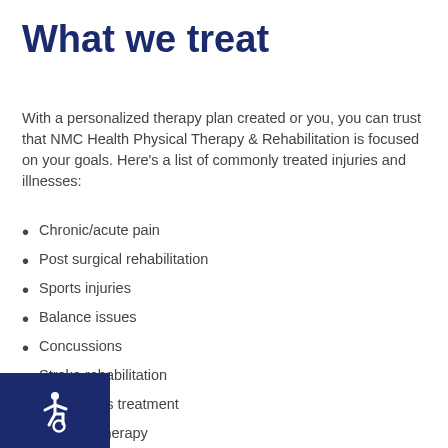What we treat
With a personalized therapy plan created or you, you can trust that NMC Health Physical Therapy & Rehabilitation is focused on your goals. Here's a list of commonly treated injuries and illnesses:
Chronic/acute pain
Post surgical rehabilitation
Sports injuries
Balance issues
Concussions
Stroke rehabilitation
Parkinson's treatment
Pediatric therapy
Women's health (pelvic floor, incontinence and postpartum care)
[Figure (illustration): Accessibility wheelchair icon in white on dark navy blue background, bottom-left corner]